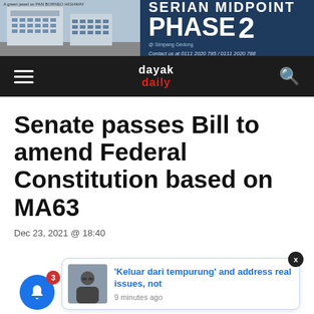[Figure (photo): Banner advertisement for Serian Midpoint Phase 2 showing a building facade with text 'Contact us at 0111 2020 795 / 0111 2020 788']
dayak daily
Senate passes Bill to amend Federal Constitution based on MA63
Dec 23, 2021 @ 18:40
[Figure (photo): Notification bell icon with badge showing 3, and a popup card with a photo of a man in a suit with text: 'Keluar dari tempurung' and address real issues, not — 9 minutes ago]